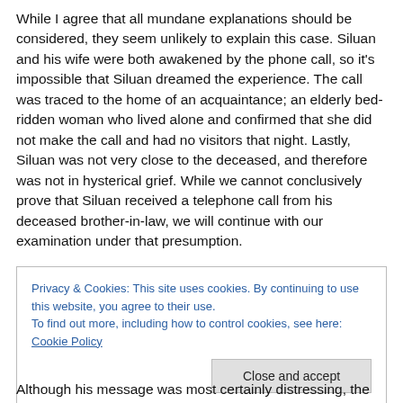While I agree that all mundane explanations should be considered, they seem unlikely to explain this case. Siluan and his wife were both awakened by the phone call, so it's impossible that Siluan dreamed the experience. The call was traced to the home of an acquaintance; an elderly bed-ridden woman who lived alone and confirmed that she did not make the call and had no visitors that night. Lastly, Siluan was not very close to the deceased, and therefore was not in hysterical grief. While we cannot conclusively prove that Siluan received a telephone call from his deceased brother-in-law, we will continue with our examination under that presumption.
Privacy & Cookies: This site uses cookies. By continuing to use this website, you agree to their use. To find out more, including how to control cookies, see here: Cookie Policy
Although his message was most certainly distressing, the